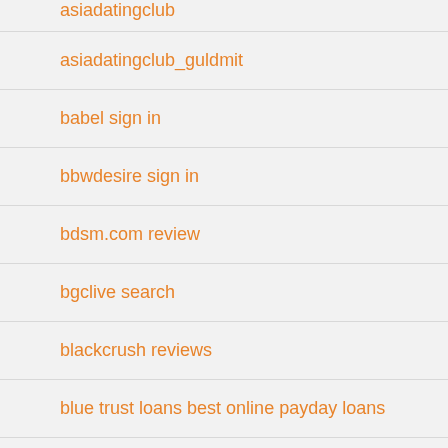asiadatingclub_guldmit
babel sign in
bbwdesire sign in
bdsm.com review
bgclive search
blackcrush reviews
blue trust loans best online payday loans
board meeting
brazilcupid sign in
bumble mobile